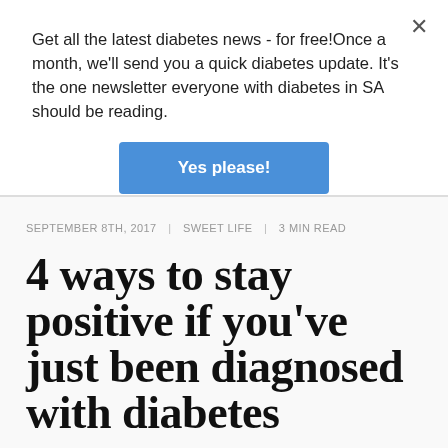Get all the latest diabetes news - for free!Once a month, we'll send you a quick diabetes update. It's the one newsletter everyone with diabetes in SA should be reading.
[Figure (other): Blue button with white text reading 'Yes please!']
SEPTEMBER 8TH, 2017  |  SWEET LIFE  |  3 MIN READ
4 ways to stay positive if you've just been diagnosed with diabetes